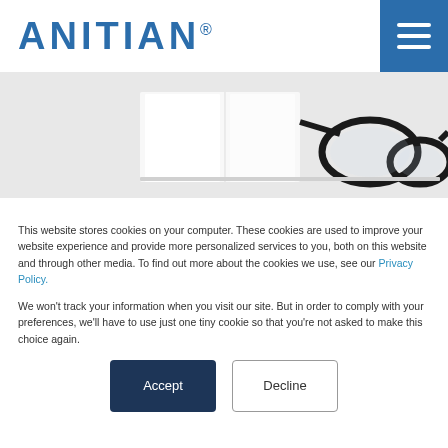ANITIAN®
[Figure (photo): Partial view of white paper documents and black eyeglasses on a white surface, partially obscured by cookie consent overlay.]
This website stores cookies on your computer. These cookies are used to improve your website experience and provide more personalized services to you, both on this website and through other media. To find out more about the cookies we use, see our Privacy Policy.
We won't track your information when you visit our site. But in order to comply with your preferences, we'll have to use just one tiny cookie so that you're not asked to make this choice again.
Accept
Decline